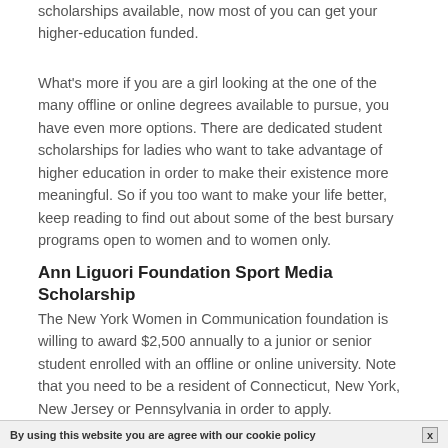scholarships available, now most of you can get your higher-education funded.
What's more if you are a girl looking at the one of the many offline or online degrees available to pursue, you have even more options. There are dedicated student scholarships for ladies who want to take advantage of higher education in order to make their existence more meaningful. So if you too want to make your life better, keep reading to find out about some of the best bursary programs open to women and to women only.
Ann Liguori Foundation Sport Media Scholarship
The New York Women in Communication foundation is willing to award $2,500 annually to a junior or senior student enrolled with an offline or online university. Note that you need to be a resident of Connecticut, New York, New Jersey or Pennsylvania in order to apply.
By using this website you are agree with our cookie policy